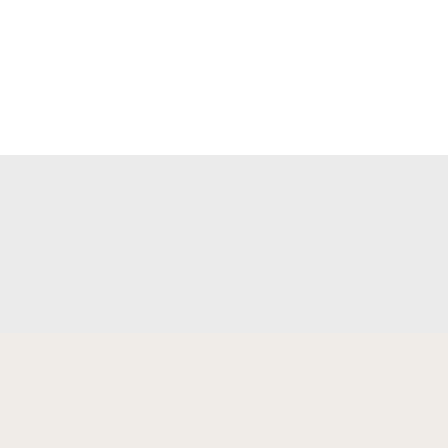10. The sons of Ca... dynasty
Leamer, Laurene...
DB107057
2004
Digital Book
11. Saddles and sp...
Settle, Raymond...
DBC26009
1972
7 hours, 6 minut...
Digital Book
12. Chipeta : : que...
Becker, Cynthia...
DBC26010
2003
8 hours, 48 minu...
Digital Book
13. Broken : : the t... th... FBI...